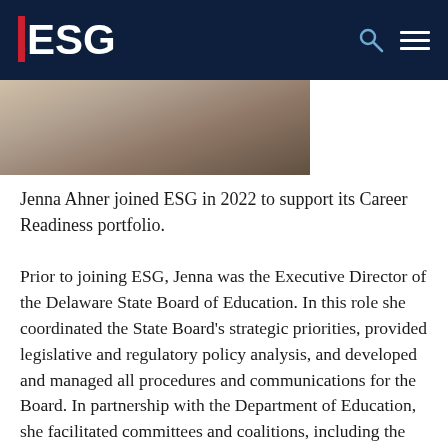ESG
[Figure (photo): Partial photo of a person, cropped, showing clothing/torso area, in warm tones]
Jenna Ahner joined ESG in 2022 to support its Career Readiness portfolio.
Prior to joining ESG, Jenna was the Executive Director of the Delaware State Board of Education. In this role she coordinated the State Board's strategic priorities, provided legislative and regulatory policy analysis, and developed and managed all procedures and communications for the Board. In partnership with the Department of Education, she facilitated committees and coalitions, including the Delaware P-20 Council and the State Board's committee to develop the Perkins Transition Plan and four-year plan...